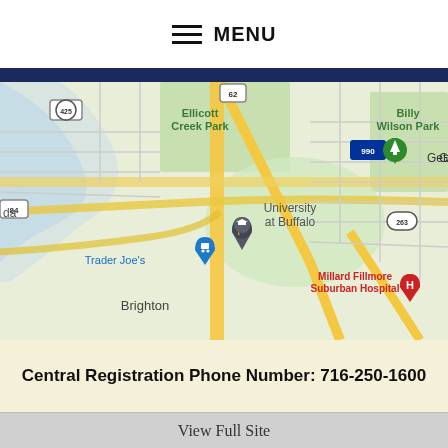MENU
[Figure (map): Google Maps view showing University at Buffalo area, including Ellicott Creek Park, Getzville, Billy Wilson Park, Trader Joe's, Brighton, Millard Fillmore Suburban Hospital, with route markers 425, 62, 990, 263, 84.]
Central Registration Phone Number: 716-250-1600
View Full Site